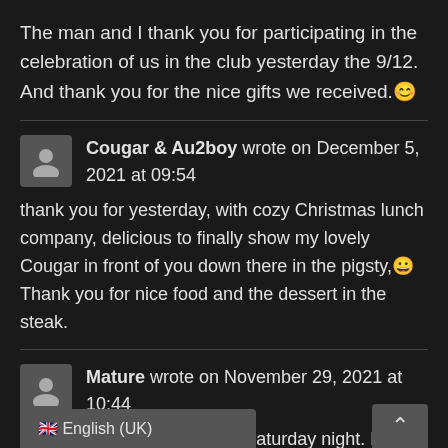The man and I thank you for participating in the celebration of us in the club yesterday the 9/12. And thank you for the nice gifts we received. 😊
Cougar & Au2boy wrote on December 5, 2021 at 09:54
thank you for yesterday, with cozy Christmas lunch company, delicious to finally show my lovely Cougar in front of you down there in the pigsty, 😀 Thank you for nice food and the dessert in the steak.
Mature wrote on November 29, 2021 at 10:44
Thanks for a super naughty Saturday night. Really nice club you have made and nice and welcoming bar.
[cut off] come again.
🇬🇧 English (UK)